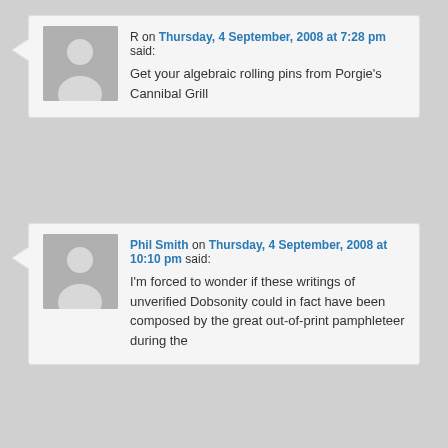[Figure (illustration): Generic grey avatar silhouette placeholder for user R]
R on Thursday, 4 September, 2008 at 7:28 pm said:
Get your algebraic rolling pins from Porgie's Cannibal Grill
[Figure (illustration): Generic grey avatar silhouette placeholder for Phil Smith]
Phil Smith on Thursday, 4 September, 2008 at 10:10 pm said:
I'm forced to wonder if these writings of unverified Dobsonity could in fact have been composed by the great out-of-print pamphleteer during the